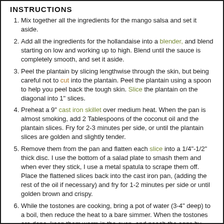INSTRUCTIONS
Mix together all the ingredients for the mango salsa and set it aside.
Add all the ingredients for the hollandaise into a blender, and blend starting on low and working up to high. Blend until the sauce is completely smooth, and set it aside.
Peel the plantain by slicing lengthwise through the skin, but being careful not to cut into the plantain. Peel the plantain using a spoon to help you peel back the tough skin. Slice the plantain on the diagonal into 1" slices.
Preheat a 9" cast iron skillet over medium heat. When the pan is almost smoking, add 2 Tablespoons of the coconut oil and the plantain slices. Fry for 2-3 minutes per side, or until the plantain slices are golden and slightly tender.
Remove them from the pan and flatten each slice into a 1/4"-1/2" thick disc. I use the bottom of a salad plate to smash them and when ever they stick, I use a metal spatula to scrape them off. Place the flattened slices back into the cast iron pan, (adding the rest of the oil if necessary) and fry for 1-2 minutes per side or until golden brown and crispy.
While the tostones are cooking, bring a pot of water (3-4" deep) to a boil, then reduce the heat to a bare simmer. When the tostones are done, keep them warm in the oven, and poach the eggs by slowly lowering them into the pan one at a time. After they’ve cooked for about 1 minute, use a spoon to make sure they’re not sticking to the bottom of the pan. Continue to cook the eggs to your desired doneness.
While the eggs are cooking, quickly sear each ham slice in a nonstick pan, about 30 seconds per side.